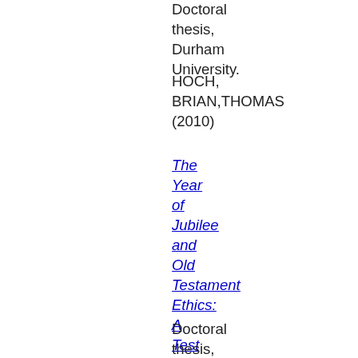Doctoral thesis, Durham University.
HOCH, BRIAN,THOMAS (2010)
The Year of Jubilee and Old Testament Ethics: A Test Case in Methodology.
Doctoral thesis,